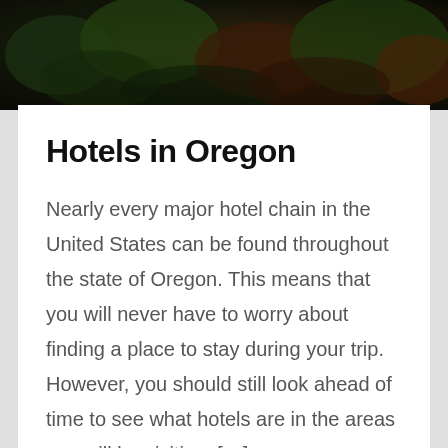[Figure (photo): Aerial or close-up view of dark green and reddish-brown forest foliage forming a dark banner image at the top of the page.]
Hotels in Oregon
Nearly every major hotel chain in the United States can be found throughout the state of Oregon. This means that you will never have to worry about finding a place to stay during your trip. However, you should still look ahead of time to see what hotels are in the areas you will be visiting. […]
Read More